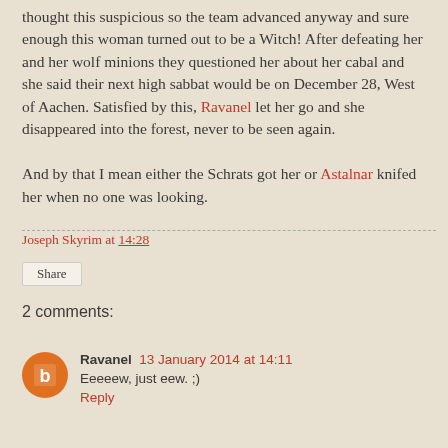thought this suspicious so the team advanced anyway and sure enough this woman turned out to be a Witch! After defeating her and her wolf minions they questioned her about her cabal and she said their next high sabbat would be on December 28, West of Aachen. Satisfied by this, Ravanel let her go and she disappeared into the forest, never to be seen again.

And by that I mean either the Schrats got her or Astalnar knifed her when no one was looking.
Joseph Skyrim at 14:28
Share
2 comments:
Ravanel 13 January 2014 at 14:11
Eeeeew, just eew. ;)
Reply